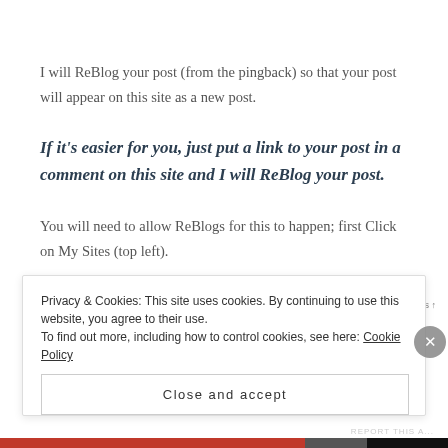I will ReBlog your post (from the pingback) so that your post will appear on this site as a new post.
If it's easier for you, just put a link to your post in a comment on this site and I will ReBlog your post.
You will need to allow ReBlogs for this to happen; first Click on My Sites (top left).
Is there anyway I can disable the reblog option?
Privacy & Cookies: This site uses cookies. By continuing to use this website, you agree to their use.
To find out more, including how to control cookies, see here: Cookie Policy
Close and accept